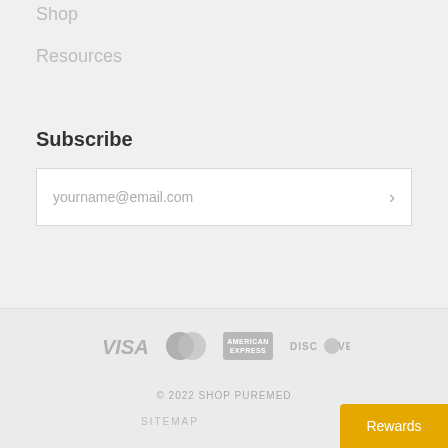Shop
Resources
Subscribe
yourname@email.com
[Figure (logo): Payment method logos: VISA, MasterCard, American Express, Discover]
© 2022 SHOP PUREMED
SITEMAP